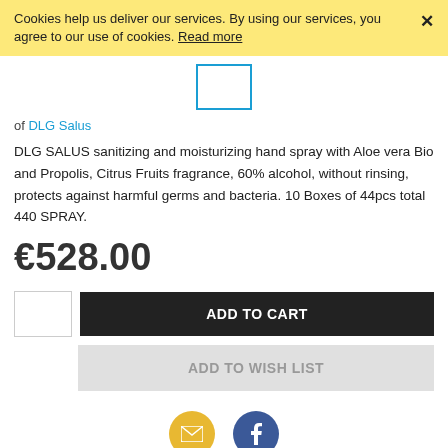Cookies help us deliver our services. By using our services, you agree to our use of cookies. Read more ×
[Figure (other): Product image placeholder box with blue border]
of DLG Salus
DLG SALUS sanitizing and moisturizing hand spray with Aloe vera Bio and Propolis, Citrus Fruits fragrance, 60% alcohol, without rinsing, protects against harmful germs and bacteria. 10 Boxes of 44pcs total 440 SPRAY.
€528.00
ADD TO CART
ADD TO WISH LIST
[Figure (other): Social sharing icons: email (yellow circle) and Facebook (blue circle)]